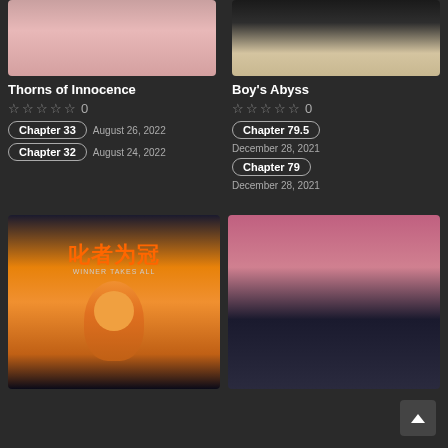[Figure (illustration): Manga cover image for Thorns of Innocence - top portion cropped]
[Figure (illustration): Manga cover image for Boy's Abyss - top portion cropped with Japanese text]
Thorns of Innocence
Boy's Abyss
☆☆☆☆☆ 0
☆☆☆☆☆ 0
Chapter 33 | August 26, 2022
Chapter 32 | August 24, 2022
Chapter 79.5
December 28, 2021
Chapter 79
December 28, 2021
[Figure (illustration): Manga cover image - Winner Takes All manga with orange-haired character]
[Figure (illustration): Manga cover image - romantic manga with black and pink haired characters on pink background]